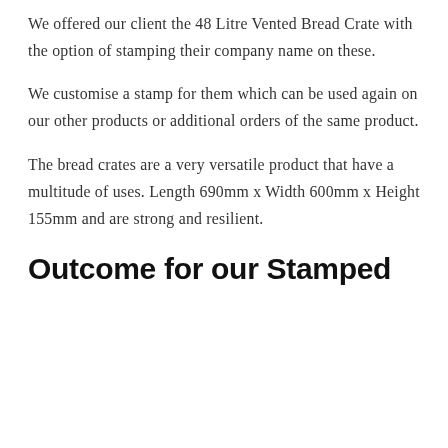We offered our client the 48 Litre Vented Bread Crate with the option of stamping their company name on these.
We customise a stamp for them which can be used again on our other products or additional orders of the same product.
The bread crates are a very versatile product that have a multitude of uses. Length 690mm x Width 600mm x Height 155mm and are strong and resilient.
Outcome for our Stamped